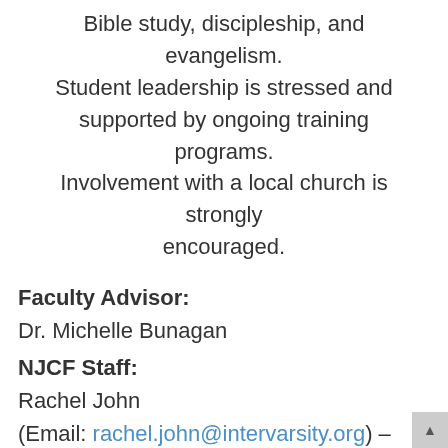Bible study, discipleship, and evangelism. Student leadership is stressed and supported by ongoing training programs. Involvement with a local church is strongly encouraged.
Faculty Advisor:
Dr. Michelle Bunagan
NJCF Staff:
Rachel John
(Email: rachel.john@intervarsity.org) – general undergrad ministry
Allison Stump
(Email: allison.stump@intervarsity.org) –